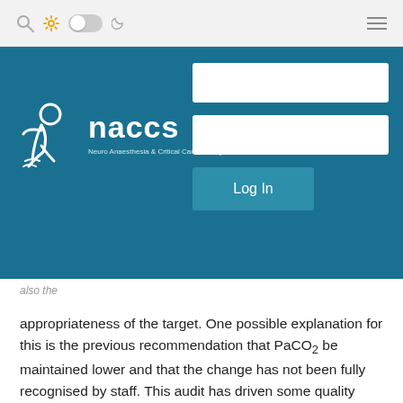[Figure (screenshot): Top navigation bar with search icon, gear icon, toggle switch, moon icon, and hamburger menu]
[Figure (logo): NACCS (Neuro Anaesthesia & Critical Care Society) login banner with white logo, organization name, and login form with two input fields and Log In button]
also the
appropriateness of the target. One possible explanation for this is the previous recommendation that PaCO2 be maintained lower and that the change has not been fully recognised by staff. This audit has driven some quality